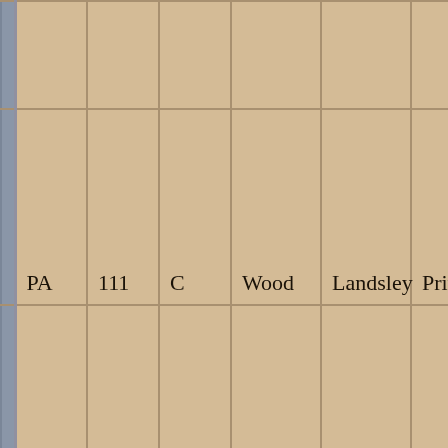|  |  |  |  |  |  |
| PA | 111 | C | Wood | Landsley | Private |
| PA | 111 | D | Sturdevant | H. R. | Captain |